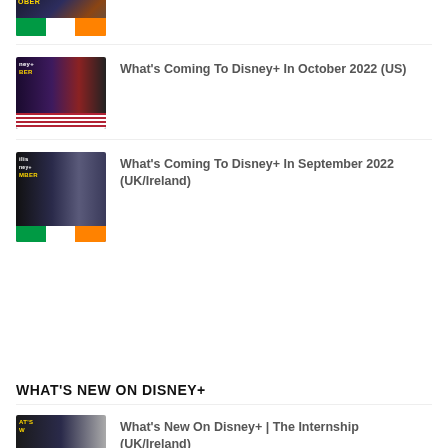[Figure (photo): Partial thumbnail for an article about Disney+ October 2022 UK/Ireland with Irish flag colors at bottom]
[Figure (photo): Thumbnail for What's Coming To Disney+ In October 2022 (US) with US flag stripe at bottom]
What's Coming To Disney+ In October 2022 (US)
[Figure (photo): Thumbnail for What's Coming To Disney+ In September 2022 (UK/Ireland) with Irish flag colors at bottom]
What's Coming To Disney+ In September 2022 (UK/Ireland)
WHAT'S NEW ON DISNEY+
[Figure (photo): Thumbnail for What's New On Disney+ | The Internship (UK/Ireland)]
What's New On Disney+ | The Internship (UK/Ireland)